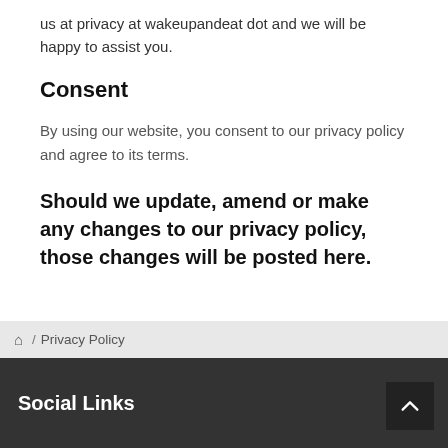us at privacy at wakeupandeat dot and we will be happy to assist you.
Consent
By using our website, you consent to our privacy policy and agree to its terms.
Should we update, amend or make any changes to our privacy policy, those changes will be posted here.
🏠 / Privacy Policy
Social Links